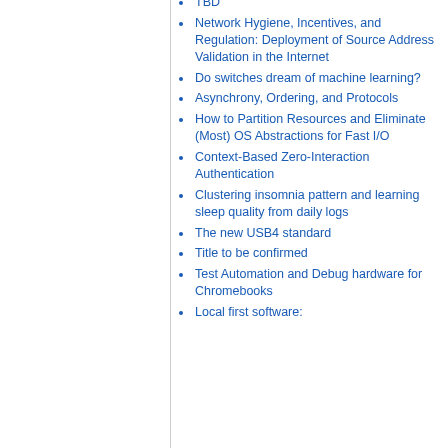TBD
Network Hygiene, Incentives, and Regulation: Deployment of Source Address Validation in the Internet
Do switches dream of machine learning?
Asynchrony, Ordering, and Protocols
How to Partition Resources and Eliminate (Most) OS Abstractions for Fast I/O
Context-Based Zero-Interaction Authentication
Clustering insomnia pattern and learning sleep quality from daily logs
The new USB4 standard
Title to be confirmed
Test Automation and Debug hardware for Chromebooks
Local first software: